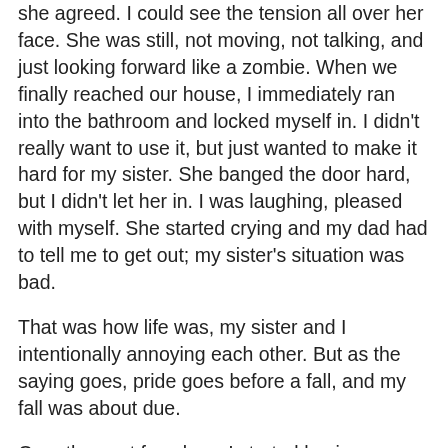she agreed. I could see the tension all over her face. She was still, not moving, not talking, and just looking forward like a zombie. When we finally reached our house, I immediately ran into the bathroom and locked myself in. I didn't really want to use it, but just wanted to make it hard for my sister. She banged the door hard, but I didn't let her in. I was laughing, pleased with myself. She started crying and my dad had to tell me to get out; my sister's situation was bad.
That was how life was, my sister and I intentionally annoying each other. But as the saying goes, pride goes before a fall, and my fall was about due.
Over the next few days, I started having stomach pains which grew worse and worse until, on the fourth day, I was rushed to the hospital. The diagnosis was kidney failure; I needed an organ transplant within a week.